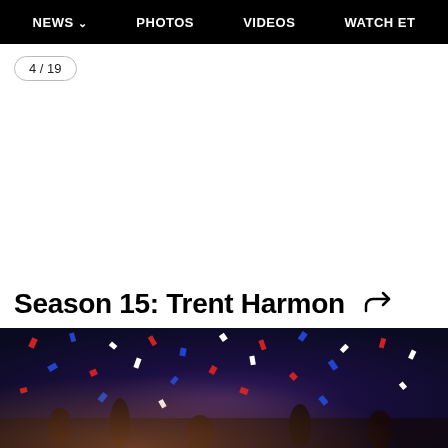NEWS  PHOTOS  VIDEOS  WATCH ET
4 / 19
Season 15: Trent Harmon
[Figure (photo): Celebration scene with confetti falling, crowd visible with red, white, and blue confetti pieces in the air]